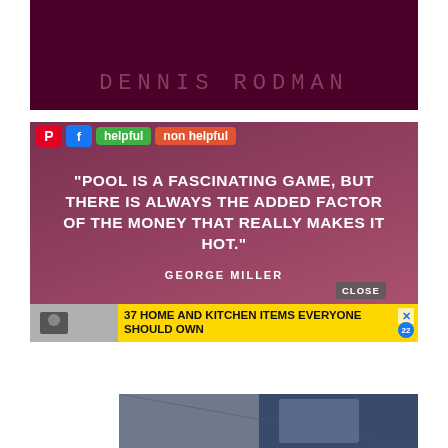[Figure (illustration): Dark maroon/crimson banner with 'DENNIS RODMAN' text in muted pink stylized lettering]
[Figure (screenshot): Quote card with mauve/rose gradient background showing social sharing buttons (Pinterest, Facebook, helpful, non helpful) and a quote: 'Pool is a fascinating game, but there is always the added factor of the money that really makes it hot.' attributed to George Miller, with a close button and advertisement banner for '37 Home and Kitchen Items Everyone Should Own']